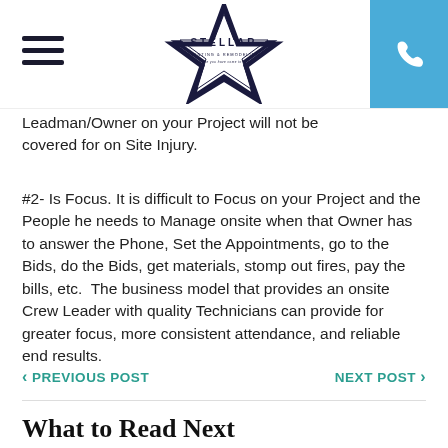[Figure (logo): Stellar Painting & Remodeling star logo with company name]
Leadman/Owner on your Project will not be covered for on Site Injury.
#2- Is Focus. It is difficult to Focus on your Project and the People he needs to Manage onsite when that Owner has to answer the Phone, Set the Appointments, go to the Bids, do the Bids, get materials, stomp out fires, pay the bills, etc.  The business model that provides an onsite Crew Leader with quality Technicians can provide for greater focus, more consistent attendance, and reliable end results.
PREVIOUS POST
NEXT POST
What to Read Next